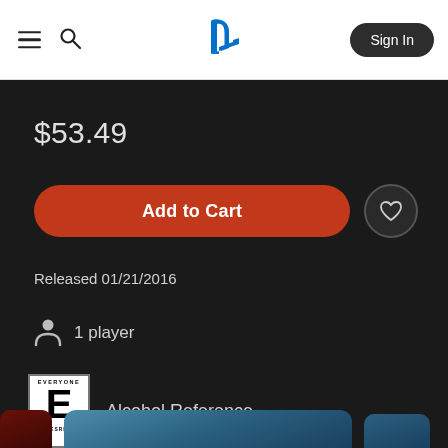PlayStation Store navigation bar with hamburger menu, search icon, PlayStation logo, and Sign In button
$53.49
Add to Cart
Released 01/21/2016
1 player
[Figure (logo): ESRB Everyone (E) rating badge with Alcohol Reference content descriptor]
Alcohol Reference